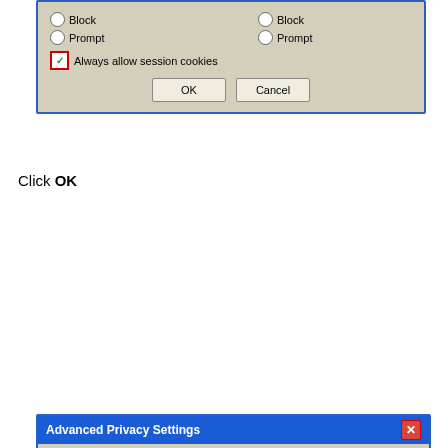[Figure (screenshot): Top portion of Advanced Privacy Settings dialog showing Block, Prompt radio buttons for first-party and third-party cookies, a checked checkbox with red border for Always allow session cookies, and OK/Cancel buttons]
Click OK
[Figure (screenshot): Advanced Privacy Settings dialog with blue title bar, cookie icon, description text, Cookies group box with Override automatic cookie handling checkbox, First-party and Third-party Cookies radio buttons (Accept selected), Always allow session cookies checkbox, and OK (red border) / Cancel buttons]